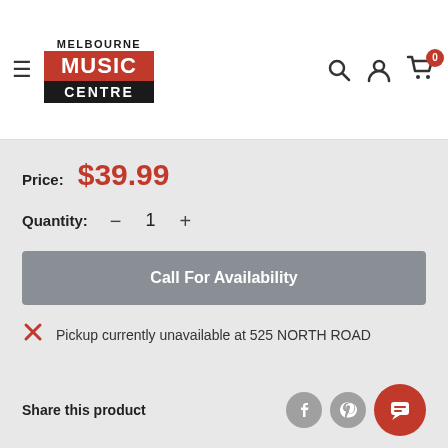[Figure (logo): Melbourne Music Centre logo with red MUSIC band and black CENTRE band]
Price: $39.99
Quantity: - 1 +
Call For Availability
Pickup currently unavailable at 525 NORTH ROAD
Share this product